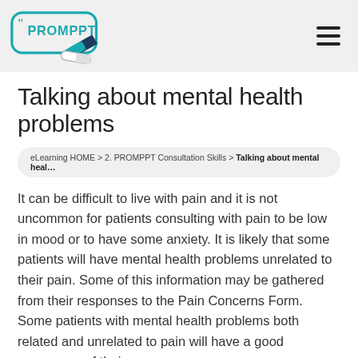PROMPPT logo and navigation
Talking about mental health problems
eLearning HOME > 2. PROMPPT Consultation Skills > Talking about mental heal...
It can be difficult to live with pain and it is not uncommon for patients consulting with pain to be low in mood or to have some anxiety. It is likely that some patients will have mental health problems unrelated to their pain. Some of this information may be gathered from their responses to the Pain Concerns Form. Some patients with mental health problems both related and unrelated to pain will have a good awareness of their